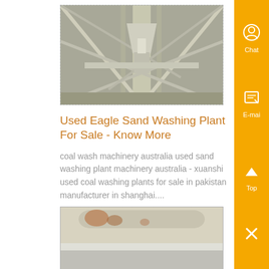[Figure (photo): Industrial sand washing plant machinery with metal framework, beams and chutes visible in a large facility.]
Used Eagle Sand Washing Plant For Sale - Know More
coal wash machinery australia used sand washing plant machinery australia - xuanshi used coal washing plants for sale in pakistan manufacturer in shanghai....
[Figure (photo): Close-up of used industrial coal washing plant equipment, showing worn metal surfaces with rust marks.]
used coal washing plant for sale Mining Quarry